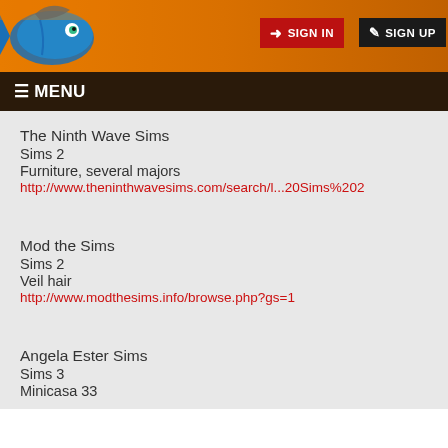[Figure (screenshot): Website header with orange/brown gradient background and fish logo on left. Sign In (red button) and Sign Up (dark button) on upper right.]
≡ MENU
The Ninth Wave Sims
Sims 2
Furniture, several majors
http://www.theninthwavesims.com/search/l...20Sims%202
Mod the Sims
Sims 2
Veil hair
http://www.modthesims.info/browse.php?gs=1
Angela Ester Sims
Sims 3
Minicasa 33